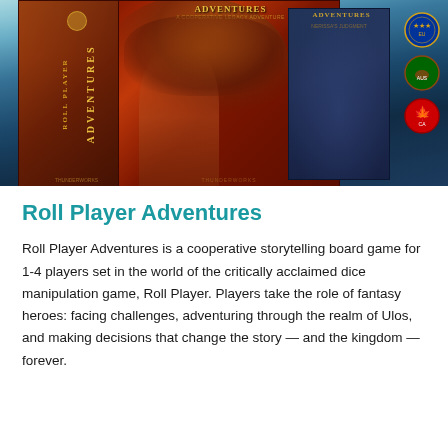[Figure (photo): Product photo of Roll Player Adventures board game boxes against a fantasy landscape background with dragons and heroes. Three circular certification badges visible on the right side (EU, Australian, Canadian).]
Roll Player Adventures
Roll Player Adventures is a cooperative storytelling board game for 1-4 players set in the world of the critically acclaimed dice manipulation game, Roll Player. Players take the role of fantasy heroes: facing challenges, adventuring through the realm of Ulos, and making decisions that change the story — and the kingdom — forever.